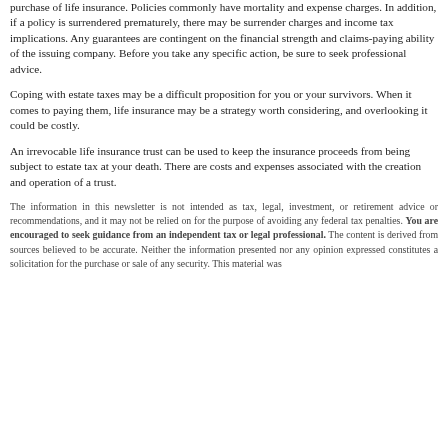purchase of life insurance. Policies commonly have mortality and expense charges. In addition, if a policy is surrendered prematurely, there may be surrender charges and income tax implications. Any guarantees are contingent on the financial strength and claims-paying ability of the issuing company. Before you take any specific action, be sure to seek professional advice.
Coping with estate taxes may be a difficult proposition for you or your survivors. When it comes to paying them, life insurance may be a strategy worth considering, and overlooking it could be costly.
An irrevocable life insurance trust can be used to keep the insurance proceeds from being subject to estate tax at your death. There are costs and expenses associated with the creation and operation of a trust.
The information in this newsletter is not intended as tax, legal, investment, or retirement advice or recommendations, and it may not be relied on for the purpose of avoiding any federal tax penalties. You are encouraged to seek guidance from an independent tax or legal professional. The content is derived from sources believed to be accurate. Neither the information presented nor any opinion expressed constitutes a solicitation for the purchase or sale of any security. This material was